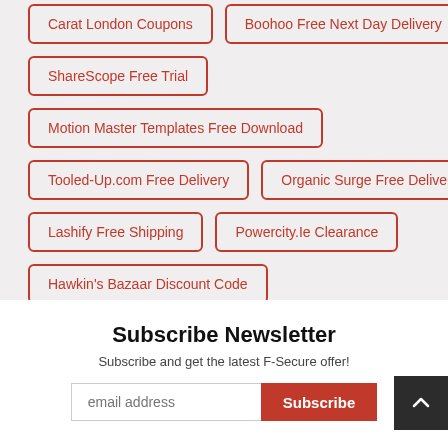Carat London Coupons
Boohoo Free Next Day Delivery
ShareScope Free Trial
Motion Master Templates Free Download
Tooled-Up.com Free Delivery
Organic Surge Free Delivery
Lashify Free Shipping
Powercity.Ie Clearance
Hawkin's Bazaar Discount Code
Subscribe Newsletter
Subscribe and get the latest F-Secure offer!